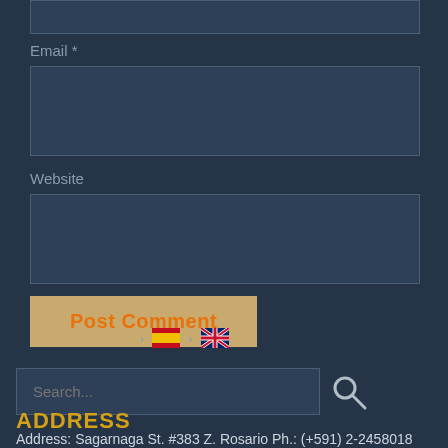Email *
[Figure (screenshot): Email input text field, empty, dark background with border]
Website
[Figure (screenshot): Website input text field, empty, dark background with border]
[Figure (other): Post Comment button with orange/tan background and orange text]
[Figure (other): Language selector with Spanish and UK flag icons with arrow separators]
[Figure (screenshot): Search input field with placeholder text 'Search...' and a search icon]
ADDRESS
Address: Sagarnaga St. #383 Z. Rosario Ph.: (+591) 2-2458018